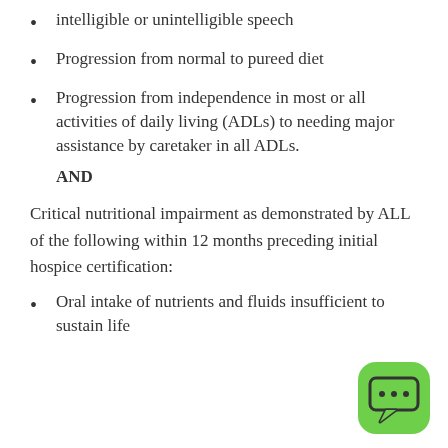intelligible or unintelligible speech
Progression from normal to pureed diet
Progression from independence in most or all activities of daily living (ADLs) to needing major assistance by caretaker in all ADLs.
AND
Critical nutritional impairment as demonstrated by ALL of the following within 12 months preceding initial hospice certification:
Oral intake of nutrients and fluids insufficient to sustain life